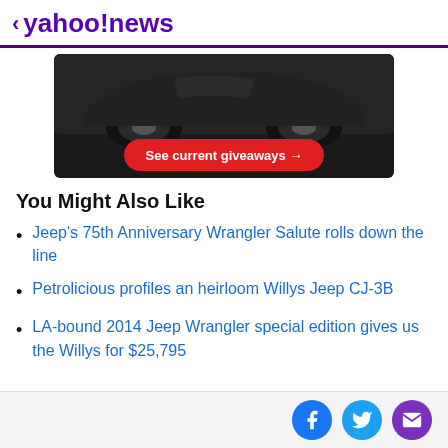< yahoo!news
[Figure (illustration): Advertisement banner showing a black car with a red rounded button labeled 'See current giveaways →' on a dark background]
You Might Also Like
Jeep's 75th Anniversary Wrangler Salute rolls down the line
Petrolicious profiles an heirloom Willys Jeep CJ-3B
LA-bound 2014 Jeep Wrangler special edition gives us the Willys for $25,795
Facebook Twitter Email social share buttons